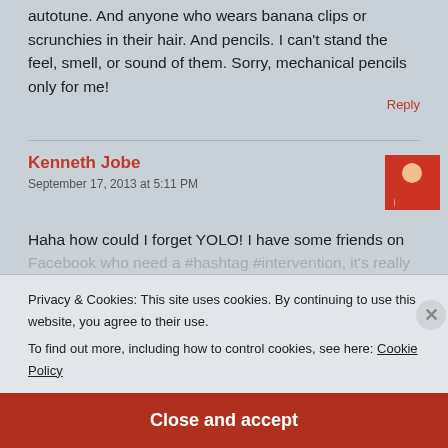autotune. And anyone who wears banana clips or scrunchies in their hair. And pencils. I can't stand the feel, smell, or sound of them. Sorry, mechanical pencils only for me!
Reply
Kenneth Jobe
September 17, 2013 at 5:11 PM
Haha how could I forget YOLO! I have some friends on Facebook who need a #hashtag #intervention, it's really gotten
Privacy & Cookies: This site uses cookies. By continuing to use this website, you agree to their use.
To find out more, including how to control cookies, see here: Cookie Policy
Close and accept